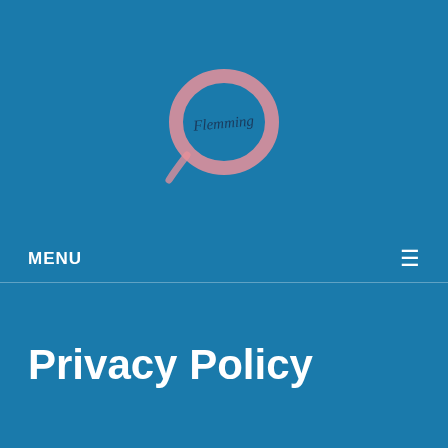[Figure (logo): Circular brush-stroke logo in pink/rose color with cursive script text inside reading 'Flemming' or similar, on a teal/blue background]
MENU
Privacy Policy